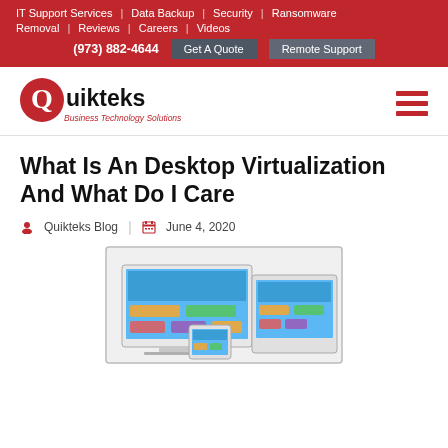IT Support Services | Data Backup | Security | Ransomware Removal | Reviews | Careers | Videos
(973) 882-4644 | Get A Quote | Remote Support
[Figure (logo): Quikteks Business Technology Solutions logo with red Q and black text]
What Is An Desktop Virtualization And What Do I Care
Quikteks Blog | June 4, 2020
[Figure (photo): Multiple devices (laptop, tablet, phone) showing virtualized desktops with blue screens and colorful app tiles]